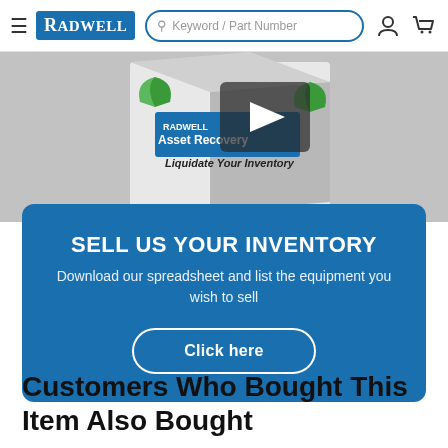Radwell | Keyword / Part Number search
[Figure (photo): Radwell Asset Recovery box with 'Liquidate Your Inventory' text and green logo, partially visible play button overlay, on grey background]
SELL US YOUR INVENTORY
Download our spreadsheet and list the equipment you wish to sell
Click here
Customers Who Bought This Item Also Bought